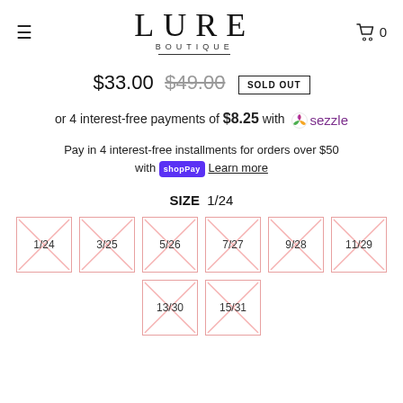[Figure (logo): Lure Boutique logo with hamburger menu icon on left and cart icon with 0 on right]
$33.00  $49.00  SOLD OUT
or 4 interest-free payments of $8.25 with Sezzle
Pay in 4 interest-free installments for orders over $50 with Shop Pay  Learn more
SIZE  1/24
Size options: 1/24, 3/25, 5/26, 7/27, 9/28, 11/29, 13/30, 15/31 — all sold out (crossed out)